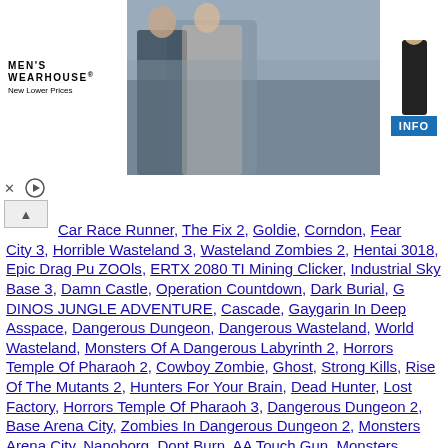[Figure (photo): Men's Wearhouse advertisement banner with couple in formal wear and male silhouette, INFO button]
Car Race Runner, The Fix 2, Goldie, Corndon, Fear City 3, Horrible Wasteland 3, Wasteland Zombies 2, Hentai 3018, Epic Drag Pu ZOOls, ERTX 2080 TI Mining Clicker, Industrial Sky Base 3, Damn Castle, Operation Countdown, Dark Burial, G DINOS JUNGLE ADVENTURE, Cascade, Gaygarin In Deep Asspace, Dangerous Dungeon, Dangerous Wasteland, World Wasteland, Monsters Of A Dangerous Labyrinth 2, Horrors Temple Of Pharaoh 2, Cowboy Zombie, Ghost, Strong Kills, Rise Of The Mutants 2, Hunters For Your Brain, Dead Hunter, Lost Factory, Horrors Temple Of Pharaoh 3, Dangerous Dungeon 2, Base Arena City, Zombies In Dangerous Dungeon 2, Monsters Arena City, Nanoborg, Dont Burn, AA Touch Gun, Monsters Anomaly, Happy Claus Christmas, Space Worms Attack, Scalpel Maestro, Fight In Wasteland 2, Village Defender, Attack Of The Undead 3, Battle In Jungle Temple, Magic Mistake, Desert Aliens, Narc Zombie Quark, Astral, Aerospace Forces, Arctic Cave, Temptation, Fear In Darkness 2, Forest Zombie Dawn, Rally Club Racers, Territory Of Zombie, Arena In Zombie City, Subway, Dark Village 2, WW II TD, World Of Tea, Ballistic Protection, Cult 2112, Desert Oasis